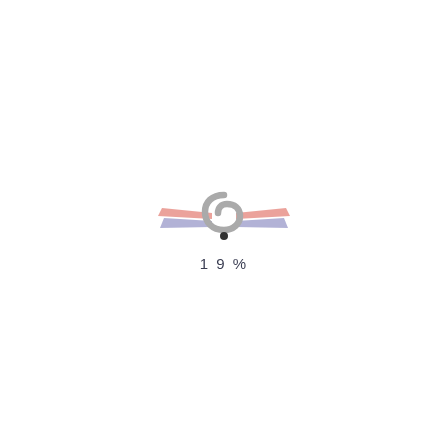[Figure (logo): A logo with stylized wings (left wing has pink/salmon and blue/purple stripes, right wing has pink/salmon and blue/purple stripes) flanking a gray circular hook or question-mark-like symbol with a small dark dot at the bottom]
19%